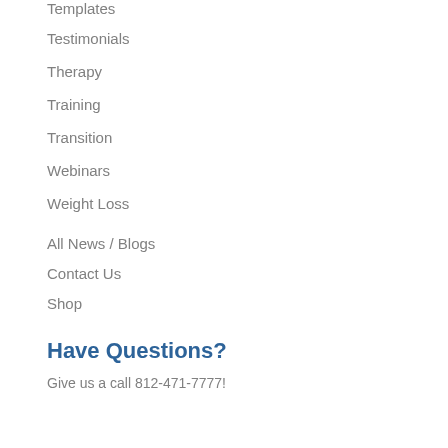Templates
Testimonials
Therapy
Training
Transition
Webinars
Weight Loss
All News / Blogs
Contact Us
Shop
Have Questions?
Give us a call 812-471-7777!